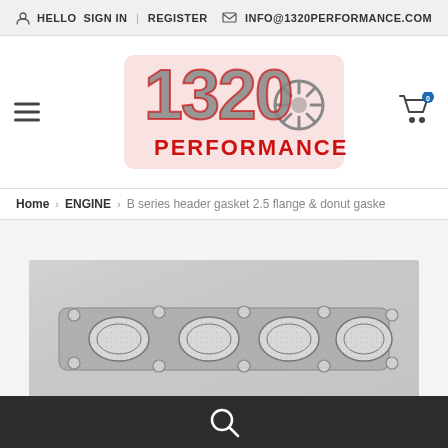HELLO  SIGN IN | REGISTER  INFO@1320PERFORMANCE.COM
[Figure (logo): 1320 Performance logo with stylized numbers and turbo graphic, red and gray coloring]
Home > ENGINE > B series header gasket 2.5 flange & donut gaske
[Figure (photo): Photo of a metal header gasket with four oval ports and mounting holes, packaged in clear plastic wrap]